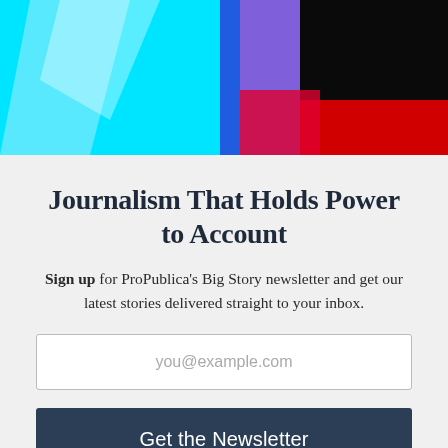[Figure (photo): Partial background image showing cyan/blue and dark/red colors, partially obscured by modal overlay]
Journalism That Holds Power to Account
Sign up for ProPublica's Big Story newsletter and get our latest stories delivered straight to your inbox.
you@example.com
Get the Newsletter
No thanks, I'm all set
This site is protected by reCAPTCHA and the Google Privacy Policy and Terms of Service apply.